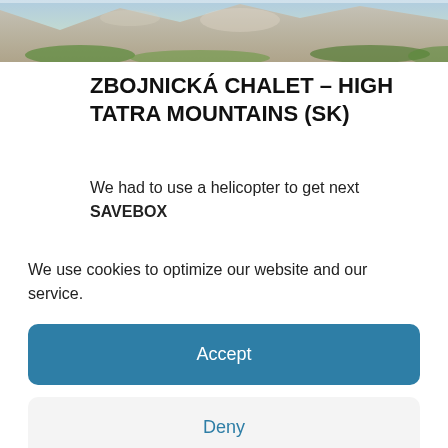[Figure (photo): Partial mountain landscape photo showing rocky terrain with green vegetation, cropped at top of page.]
ZBOJNICKÁ CHALET – HIGH TATRA MOUNTAINS (SK)
We had to use a helicopter to get next SAVEBOX [partially visible, cut off by cookie overlay]
We use cookies to optimize our website and our service.
Accept
Deny
Preferences
Cookie Policy